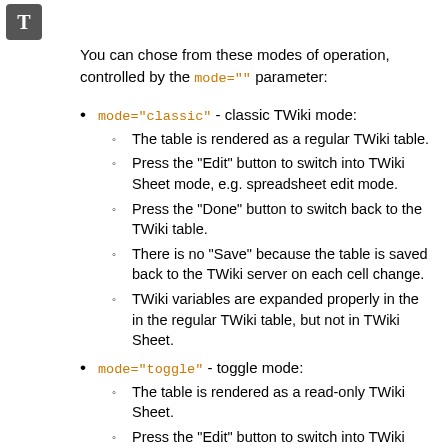[Figure (logo): Dark gray square icon with white letter T]
You can chose from these modes of operation, controlled by the mode="" parameter:
mode="classic" - classic TWiki mode:
The table is rendered as a regular TWiki table.
Press the "Edit" button to switch into TWiki Sheet mode, e.g. spreadsheet edit mode.
Press the "Done" button to switch back to the TWiki table.
There is no "Save" because the table is saved back to the TWiki server on each cell change.
TWiki variables are expanded properly in the in the regular TWiki table, but not in TWiki Sheet.
mode="toggle" - toggle mode:
The table is rendered as a read-only TWiki Sheet.
Press the "Edit" button to switch into TWiki Sheet edit mode.
Press the "Done" button to switch back to the read-only mode.
There is no "Save" because the table is saved